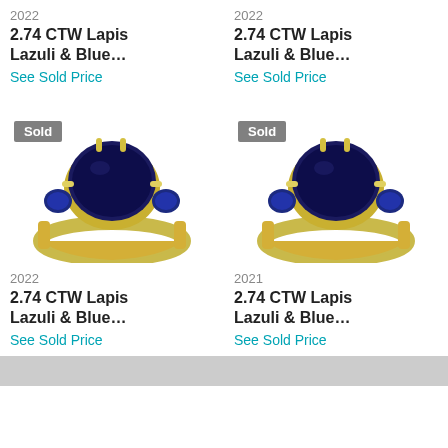2022
2.74 CTW Lapis Lazuli & Blue...
See Sold Price
2022
2.74 CTW Lapis Lazuli & Blue...
See Sold Price
[Figure (photo): Gold ring with large dark blue lapis lazuli oval center stone and two smaller blue sapphire side stones. 'Sold' badge overlay in top left.]
[Figure (photo): Gold ring with large dark blue lapis lazuli oval center stone and two smaller blue sapphire side stones. 'Sold' badge overlay in top left.]
2022
2.74 CTW Lapis Lazuli & Blue...
See Sold Price
2021
2.74 CTW Lapis Lazuli & Blue...
See Sold Price